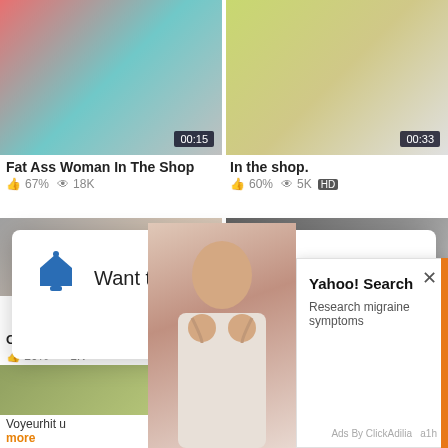[Figure (screenshot): Two video thumbnails side by side. Left shows a woman in teal outfit in a shop with duration 00:15. Right shows a woman in patterned dress in a shop with duration 00:33.]
Fat Ass Woman In The Shop
In the shop.
67%  18K
60%  5K  HD
[Figure (screenshot): Two more video thumbnails partially visible below, overlaid by a notification popup.]
Want to remove ads?
NO THANKS
ALLOW
CUte blonde in the shop (No ...
Amazing hot teen in the shop...
20%  1K
20%  3K
Voyeurhit u
more
Yahoo! Search
Research migraine symptoms
Ads By ClickAdilia   a1h